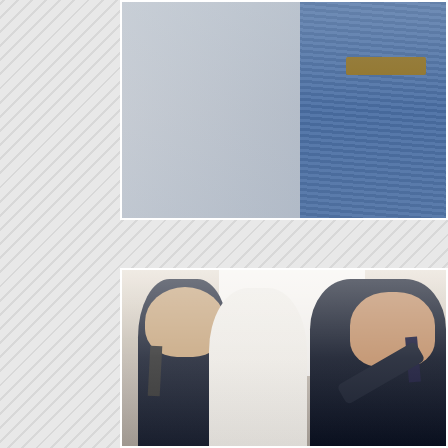[Figure (photo): Close-up photograph of men in formal suits; showing blue patterned tie/suit fabric on the right side and lighter grey suit on the left, with a brown leather belt visible at the top right.]
[Figure (photo): Wedding or formal event preparation scene. Three men in dark navy suits. The man in the center foreground is seen from behind wearing a white dress shirt. A man on the right is smiling and adjusting the collar or shoulder of the man in the white shirt. A third man with a beard stands on the left watching. Bright window light in the background.]